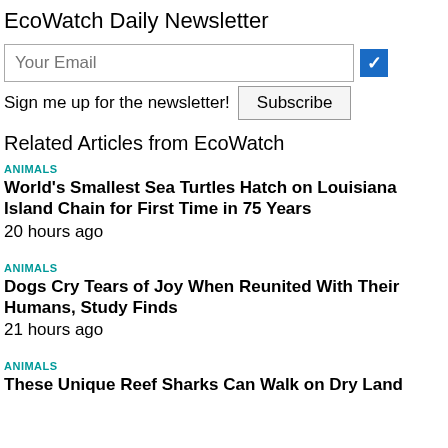EcoWatch Daily Newsletter
Your Email
Sign me up for the newsletter! Subscribe
Related Articles from EcoWatch
ANIMALS
World's Smallest Sea Turtles Hatch on Louisiana Island Chain for First Time in 75 Years
20 hours ago
ANIMALS
Dogs Cry Tears of Joy When Reunited With Their Humans, Study Finds
21 hours ago
ANIMALS
These Unique Reef Sharks Can Walk on Dry Land